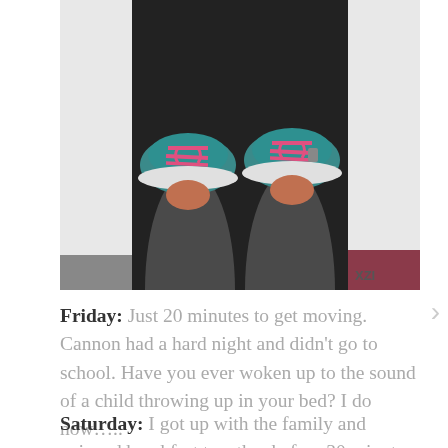[Figure (photo): Overhead/top-down photo of a person's legs wearing dark grey athletic leggings and teal/turquoise running shoes with pink laces, standing on a NordicTrack treadmill belt. The NordicTrack logo is visible on both sides of the treadmill.]
Friday:  Just 20 minutes to get moving. Cannon had a hard night and didn't go to school. Have you ever woken up to the sound of a child throwing up in your bed? I do now…..
Saturday:  I got up with the family and enjoyed breakfast together before 30 minutes on